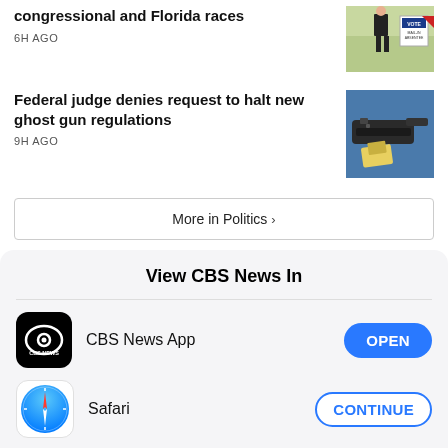congressional and Florida races
6H AGO
Federal judge denies request to halt new ghost gun regulations
9H AGO
More in Politics >
View CBS News In
CBS News App
OPEN
Safari
CONTINUE